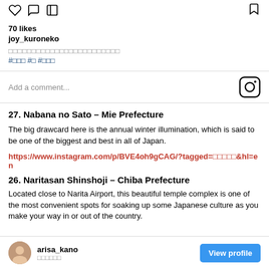70 likes
joy_kuroneko
□□□□□□□□□□□□□□□□□□□□□□□□
#□□□ #□ #□□□
Add a comment...
27. Nabana no Sato – Mie Prefecture
The big drawcard here is the annual winter illumination, which is said to be one of the biggest and best in all of Japan.
https://www.instagram.com/p/BVE4oh9gCAG/?tagged=□□□□□&hl=en
26. Naritasan Shinshoji – Chiba Prefecture
Located close to Narita Airport, this beautiful temple complex is one of the most convenient spots for soaking up some Japanese culture as you make your way in or out of the country.
arisa_kano
View profile